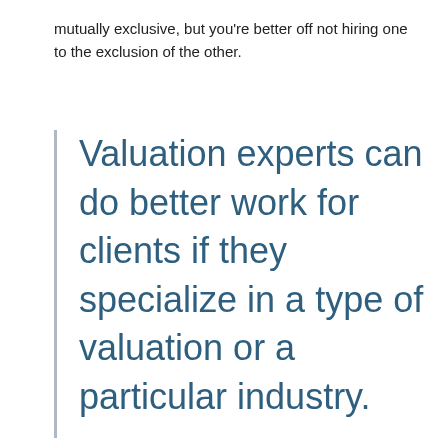mutually exclusive, but you're better off not hiring one to the exclusion of the other.
Valuation experts can do better work for clients if they specialize in a type of valuation or a particular industry.